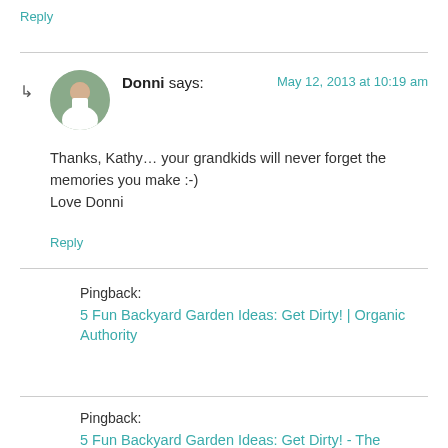Reply
Donni says: May 12, 2013 at 10:19 am
Thanks, Kathy… your grandkids will never forget the memories you make :-)
Love Donni
Reply
Pingback:
5 Fun Backyard Garden Ideas: Get Dirty! | Organic Authority
Pingback:
5 Fun Backyard Garden Ideas: Get Dirty! - The Recipe